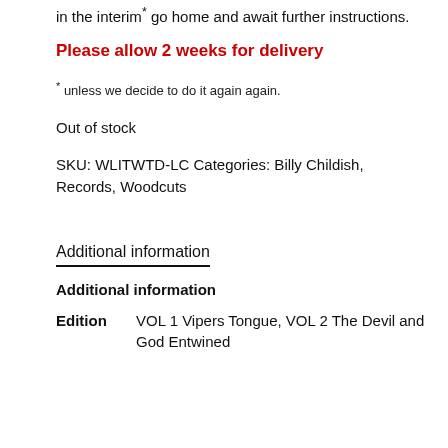in the interim* go home and await further instructions.
Please allow 2 weeks for delivery
* unless we decide to do it again again.
Out of stock
SKU: WLITWTD-LC Categories: Billy Childish, Records, Woodcuts
Additional information
Additional information
| Edition |  |
| --- | --- |
| Edition | VOL 1 Vipers Tongue, VOL 2 The Devil and God Entwined |